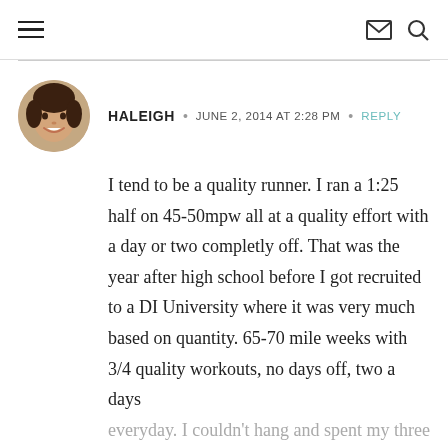≡  ✉ 🔍
HALEIGH · JUNE 2, 2014 AT 2:28 PM · REPLY
I tend to be a quality runner. I ran a 1:25 half on 45-50mpw all at a quality effort with a day or two completly off. That was the year after high school before I got recruited to a DI University where it was very much based on quantity. 65-70 mile weeks with 3/4 quality workouts, no days off, two a days everyday. I couldn't hang and spent my three and a half years injured and burned out. Now I'm trying to